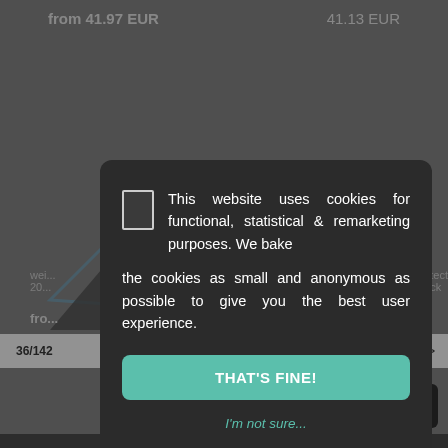from 41.97 EUR    41.13 EUR
This website uses cookies for functional, statistical & remarketing purposes. We bake the cookies as small and anonymous as possible to give you the best user experience.
THAT'S FINE!
I'm not sure...
36/142
2  2  3  4  >